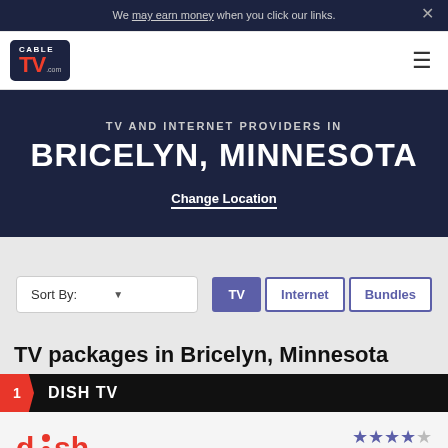We may earn money when you click our links.
[Figure (logo): CableTV.com logo in navy box with red TV text]
TV AND INTERNET PROVIDERS IN BRICELYN, MINNESOTA
Change Location
Sort By:
TV | Internet | Bundles
TV packages in Bricelyn, Minnesota
1 DISH TV
[Figure (logo): DISH logo in red with stylized letters]
Customer Rating (stars)